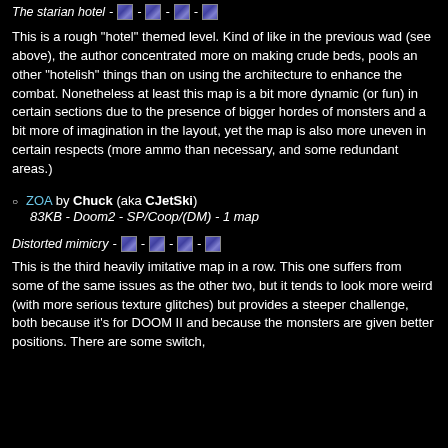The starian hotel - [img] - [img] - [img] - [img]
This is a rough "hotel" themed level. Kind of like in the previous wad (see above), the author concentrated more on making crude beds, pools an other "hotelish" things than on using the architecture to enhance the combat. Nonetheless at least this map is a bit more dynamic (or fun) in certain sections due to the presence of bigger hordes of monsters and a bit more of imagination in the layout, yet the map is also more uneven in certain respects (more ammo than necessary, and some redundant areas.)
ZOA by Chuck (aka CJetSki)
83KB - Doom2 - SP/Coop/(DM) - 1 map
Distorted mimicry - [img] - [img] - [img] - [img]
This is the third heavily imitative map in a row. This one suffers from some of the same issues as the other two, but it tends to look more weird (with more serious texture glitches) but provides a steeper challenge, both because it's for DOOM II and because the monsters are given better positions. There are some switch,